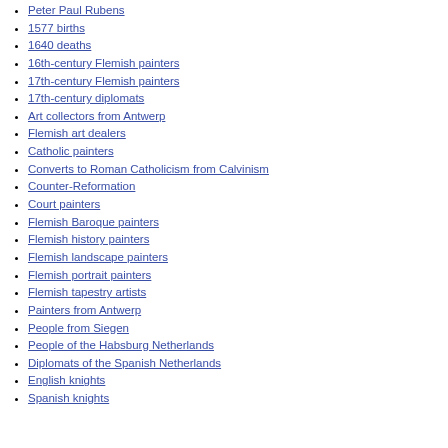Peter Paul Rubens
1577 births
1640 deaths
16th-century Flemish painters
17th-century Flemish painters
17th-century diplomats
Art collectors from Antwerp
Flemish art dealers
Catholic painters
Converts to Roman Catholicism from Calvinism
Counter-Reformation
Court painters
Flemish Baroque painters
Flemish history painters
Flemish landscape painters
Flemish portrait painters
Flemish tapestry artists
Painters from Antwerp
People from Siegen
People of the Habsburg Netherlands
Diplomats of the Spanish Netherlands
English knights
Spanish knights